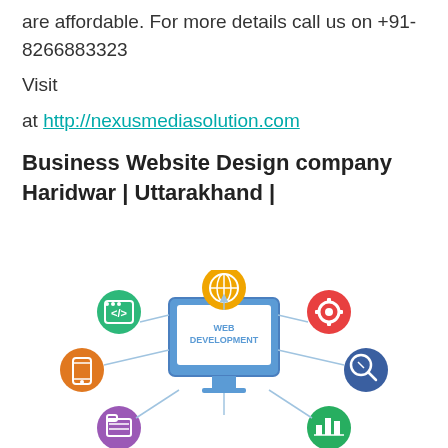are affordable. For more details call us on +91-8266883323
Visit at http://nexusmediasolution.com
Business Website Design company Haridwar | Uttarakhand |
[Figure (infographic): Web development infographic showing a central monitor with 'WEB DEVELOPMENT' text, surrounded by colorful circular icons connected by arrows representing various web development services including coding, mobile, SEO, settings/gears, and other services.]